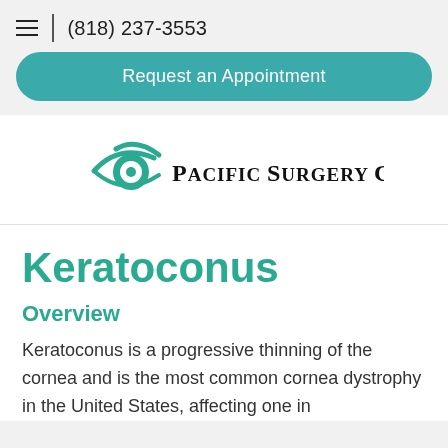(818) 237-3553
Request an Appointment
[Figure (logo): Pacific Surgery Center logo — teal eye icon with swoosh curves above, text reads PACIFIC SURGERY CENTER in serif font]
Keratoconus
Overview
Keratoconus is a progressive thinning of the cornea and is the most common cornea dystrophy in the United States, affecting one in